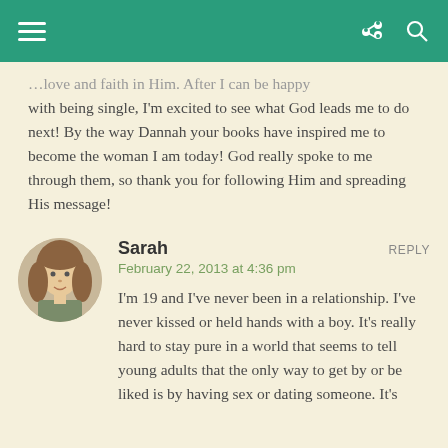[navigation bar with hamburger menu, share icon, search icon]
…love and faith in Him. After I can be happy with being single, I'm excited to see what God leads me to do next! By the way Dannah your books have inspired me to become the woman I am today! God really spoke to me through them, so thank you for following Him and spreading His message!
Sarah
February 22, 2013 at 4:36 pm
I'm 19 and I've never been in a relationship. I've never kissed or held hands with a boy. It's really hard to stay pure in a world that seems to tell young adults that the only way to get by or be liked is by having sex or dating someone. It's